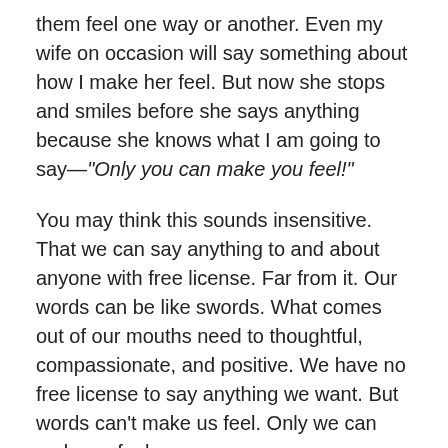them feel one way or another. Even my wife on occasion will say something about how I make her feel. But now she stops and smiles before she says anything because she knows what I am going to say—"Only you can make you feel!"
You may think this sounds insensitive. That we can say anything to and about anyone with free license. Far from it. Our words can be like swords. What comes out of our mouths need to thoughtful, compassionate, and positive. We have no free license to say anything we want. But words can't make us feel. Only we can make us feel.
One moment, Jesus was going to be made a king. The next, they were ready to throw Him off a cliff. No wonder He went away by Himself for some quiet time to think and pray. Jesus didn't let the highs and lows get to Him. We